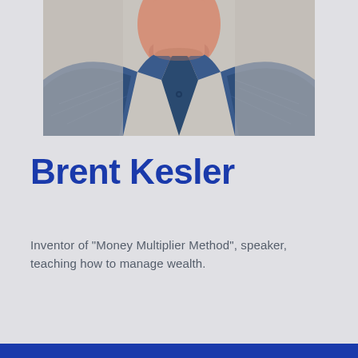[Figure (photo): Headshot photo of Brent Kesler showing his neck and shoulders, wearing a blue striped shirt, cropped at the chin, against a blurred background.]
Brent Kesler
Inventor of "Money Multiplier Method", speaker, teaching how to manage wealth.